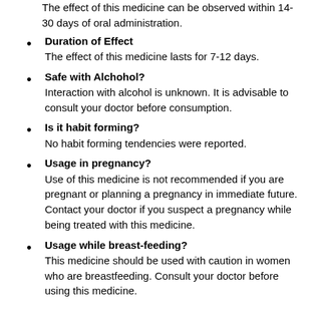The effect of this medicine can be observed within 14-30 days of oral administration.
Duration of Effect
The effect of this medicine lasts for 7-12 days.
Safe with Alchohol?
Interaction with alcohol is unknown. It is advisable to consult your doctor before consumption.
Is it habit forming?
No habit forming tendencies were reported.
Usage in pregnancy?
Use of this medicine is not recommended if you are pregnant or planning a pregnancy in immediate future. Contact your doctor if you suspect a pregnancy while being treated with this medicine.
Usage while breast-feeding?
This medicine should be used with caution in women who are breastfeeding. Consult your doctor before using this medicine.
When not to use?
Allergy
This medicine is not recommended for use in patients who have a